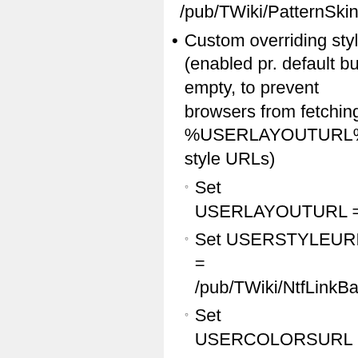/pub/TWiki/PatternSkin/...
Custom overriding styles (enabled pr. default but empty, to prevent browsers from fetching %USERLAYOUTURL%-style URLs)
Set USERLAYOUTURL =
Set USERSTYLEURL = /pub/TWiki/NtfLinkBarC...
Set USERCOLORSURL =
PatternSkin header settings
Set